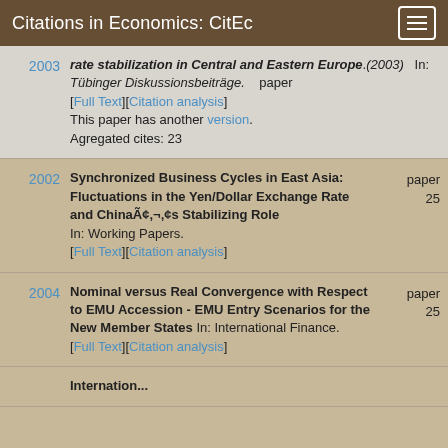Citations in Economics: CitEc
2003 — rate stabilization in Central and Eastern Europe.(2003) In: Tübinger Diskussionsbeiträge. paper [Full Text][Citation analysis] This paper has another version. Agregated cites: 23
2002 — Synchronized Business Cycles in East Asia: Fluctuations in the Yen/Dollar Exchange Rate and Chinaâs Stabilizing Role In: Working Papers. [Full Text][Citation analysis] paper 25
2004 — Nominal versus Real Convergence with Respect to EMU Accession - EMU Entry Scenarios for the New Member States In: International Finance. [Full Text][Citation analysis] paper 25